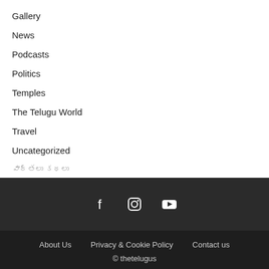Gallery
News
Podcasts
Politics
Temples
The Telugu World
Travel
Uncategorized
వార్తలు కథలు
[Figure (infographic): Social media icons: Facebook, Instagram, YouTube on dark background]
About Us   Privacy & Cookie Policy   Contact us
© thetelugus